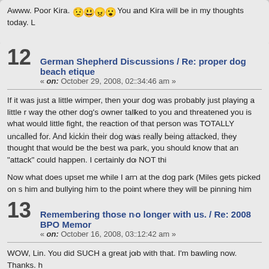Awww. Poor Kira. [emoji] [emoji] [emoji] [emoji] You and Kira will be in my thoughts today. L
12   German Shepherd Discussions / Re: proper dog beach etique
« on: October 29, 2008, 02:34:46 am »
If it was just a little wimper, then your dog was probably just playing a little r way the other dog's owner talked to you and threatened you is what would little fight, the reaction of that person was TOTALLY uncalled for. And kickin their dog was really being attacked, they thought that would be the best wa park, you should know that an "attack" could happen. I certainly do NOT thi

Now what does upset me while I am at the dog park (Miles gets picked on s him and bullying him to the point where they will be pinning him down some do anything. I have to end up getting their dog off mine. [emoji]
13   Remembering those no longer with us. / Re: 2008 BPO Memor
« on: October 16, 2008, 03:12:42 am »
WOW, Lin. You did SUCH a great job with that. I'm bawling now. Thanks. h
RIP BPO Babies. [emoji]